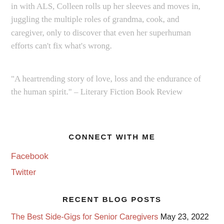in with ALS, Colleen rolls up her sleeves and moves in, juggling the multiple roles of grandma, cook, and caregiver, only to discover that even her superhuman efforts can't fix what's wrong.
"A heartrending story of love, loss and the endurance of the human spirit." – Literary Fiction Book Review
CONNECT WITH ME
Facebook
Twitter
RECENT BLOG POSTS
The Best Side-Gigs for Senior Caregivers May 23, 2022